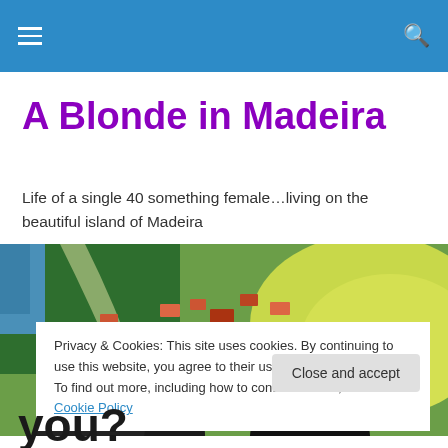Navigation bar with menu icon and search icon
A Blonde in Madeira
Life of a single 40 something female…living on the beautiful island of Madeira
[Figure (photo): Aerial view of Madeira island coastline with green hills, orange-roofed buildings, and ocean visible from a paraglider's perspective]
Privacy & Cookies: This site uses cookies. By continuing to use this website, you agree to their use.
To find out more, including how to control cookies, see here: Cookie Policy
you?